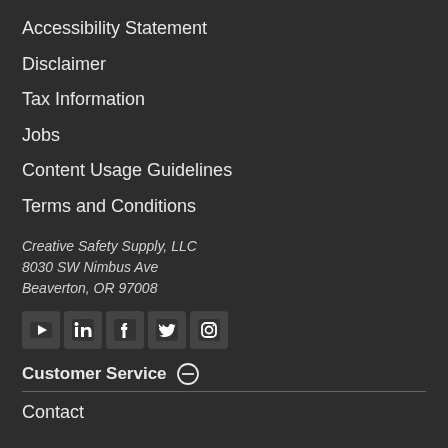Accessibility Statement
Disclaimer
Tax Information
Jobs
Content Usage Guidelines
Terms and Conditions
Creative Safety Supply, LLC
8030 SW Nimbus Ave
Beaverton, OR 97008
[Figure (infographic): Social media icons: YouTube, LinkedIn, Facebook, Twitter, Instagram]
Customer Service
Contact